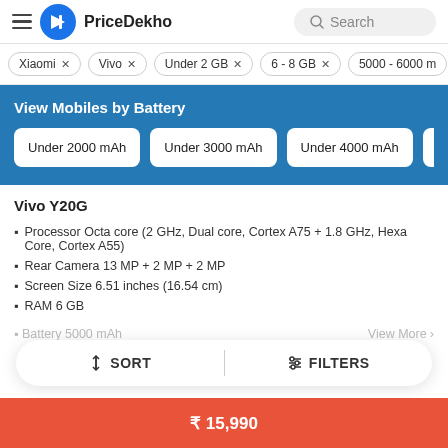PriceDekho
Xiaomi ×
Vivo ×
Under 2 GB ×
6 - 8 GB ×
5000 - 6000 m…
View Mobiles by Battery
Under 2000 mAh
Under 3000 mAh
Under 4000 mAh
Vivo Y20G
Processor Octa core (2 GHz, Dual core, Cortex A75 + 1.8 GHz, Hexa Core, Cortex A55)
Rear Camera 13 MP + 2 MP + 2 MP
Screen Size 6.51 inches (16.54 cm)
RAM 6 GB
Battery 5000 mAh
View More
↕ SORT   |⃤ FILTERS
₹ 15,990